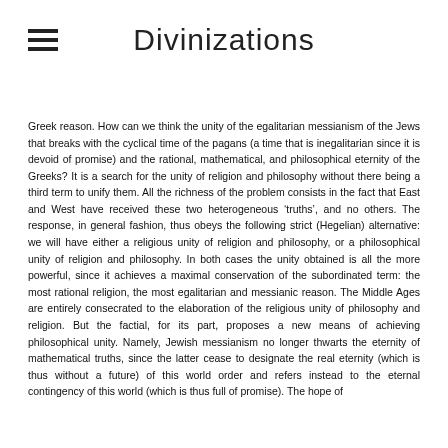Divinizations
Greek reason. How can we think the unity of the egalitarian messianism of the Jews that breaks with the cyclical time of the pagans (a time that is inegalitarian since it is devoid of promise) and the rational, mathematical, and philosophical eternity of the Greeks? It is a search for the unity of religion and philosophy without there being a third term to unify them. All the richness of the problem consists in the fact that East and West have received these two heterogeneous ‘truths’, and no others. The response, in general fashion, thus obeys the following strict (Hegelian) alternative: we will have either a religious unity of religion and philosophy, or a philosophical unity of religion and philosophy. In both cases the unity obtained is all the more powerful, since it achieves a maximal conservation of the subordinated term: the most rational religion, the most egalitarian and messianic reason. The Middle Ages are entirely consecrated to the elaboration of the religious unity of philosophy and religion. But the factial, for its part, proposes a new means of achieving philosophical unity. Namely, Jewish messianism no longer thwarts the eternity of mathematical truths, since the latter cease to designate the real eternity (which is thus without a future) of this world order and refers instead to the eternal contingency of this world (which is thus full of promise). The hope of